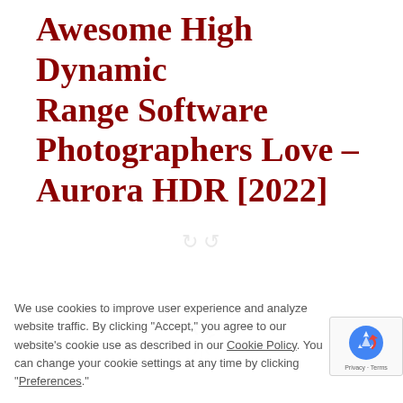Awesome High Dynamic Range Software Photographers Love – Aurora HDR [2022]
[Figure (other): Loading spinner icon (circular arrow/refresh style) faintly visible in center of page]
[Figure (other): Loading spinner (radial dashes/wheel) in center of page, indicating page content loading]
We use cookies to improve user experience and analyze website traffic. By clicking "Accept," you agree to our website's cookie use as described in our Cookie Policy. You can change your cookie settings at any time by clicking "Preferences."
[Figure (other): Google reCAPTCHA badge with logo and Privacy - Terms text]